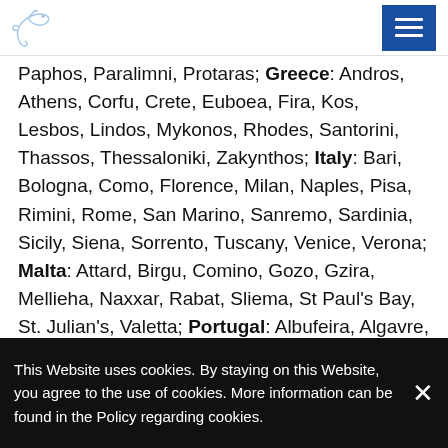[Logo: dove icon] [Menu button]
Paphos, Paralimni, Protaras; Greece: Andros, Athens, Corfu, Crete, Euboea, Fira, Kos, Lesbos, Lindos, Mykonos, Rhodes, Santorini, Thassos, Thessaloniki, Zakynthos; Italy: Bari, Bologna, Como, Florence, Milan, Naples, Pisa, Rimini, Rome, San Marino, Sanremo, Sardinia, Sicily, Siena, Sorrento, Tuscany, Venice, Verona; Malta: Attard, Birgu, Comino, Gozo, Gzira, Mellieha, Naxxar, Rabat, Sliema, St Paul's Bay, St. Julian's, Valetta; Portugal: Albufeira, Algavre, Braga, Cascais, Estoril, Funchal, Lagos, Lisbon, Madeira, Portimão, Porto, Porto Santo, Quarteira, Setúbal, Sintra, Viseu; Spain: Alicante, Altea, Barcelona, Bilbao, Fuerteventura, Galicia, Girona, Gran Canaria, Granada, Ibiza, Lanzarote, Madrid,
This Website uses cookies. By staying on this Website, you agree to the use of cookies. More information can be found in the Policy regarding cookies.